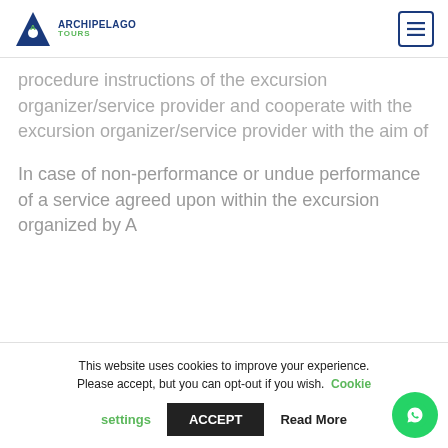Archipelago Tours
procedure instructions of the excursion organizer/service provider and cooperate with the excursion organizer/service provider with the aim of resolving the complaint on the spot.
In case of non-performance or undue performance of a service agreed upon within the excursion organized by A
This website uses cookies to improve your experience. Please accept, but you can opt-out if you wish. Cookie settings ACCEPT Read More